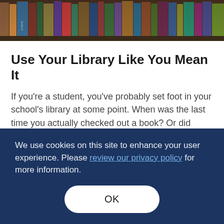[Figure (photo): Row of colorful books on library shelves, viewed closely from the side]
Use Your Library Like You Mean It
If you're a student, you've probably set foot in your school's library at some point. When was the last time you actually checked out a book? Or did anything else there besides study in between classes? Libraries are one of the most under-appreciated... Read More
We use cookies on this site to enhance your user experience. Please review our privacy policy for more information.